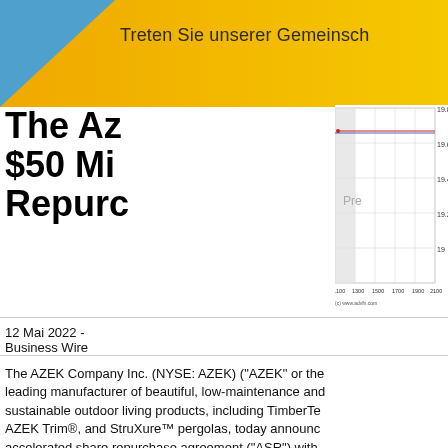Treten Sie unserer Gemeinsch
The Az $50 Mi Repurc
[Figure (continuous-plot): Stock price chart showing AZEK share price around 19.7-19.8 level, with a horizontal red line and shaded 'Pre' region. X-axis ranges from 1100 to 2100, y-axis from 19 to 19.8. Copyright (c) www.advfn.com]
12 Mai 2022 - Business Wire
The AZEK Company Inc. (NYSE: AZEK) (“AZEK” or the leading manufacturer of beautiful, low-maintenance and sustainable outdoor living products, including TimberTe AZEK Trim®, and StruXure™ pergolas, today announc accelerated share repurchase agreement (“ASR”) with National Association (“JPMorgan”) to repurchase $50 m Class A common stock.